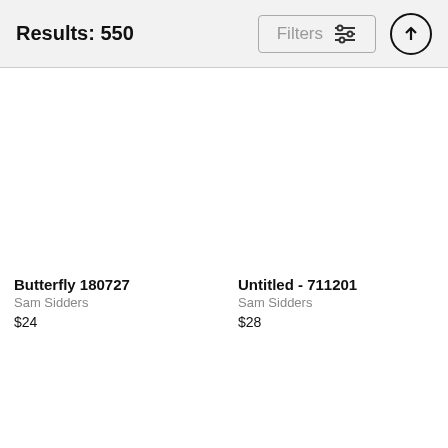Results: 550
Filters
Butterfly 180727
Sam Sidders
$24
Untitled - 711201
Sam Sidders
$28